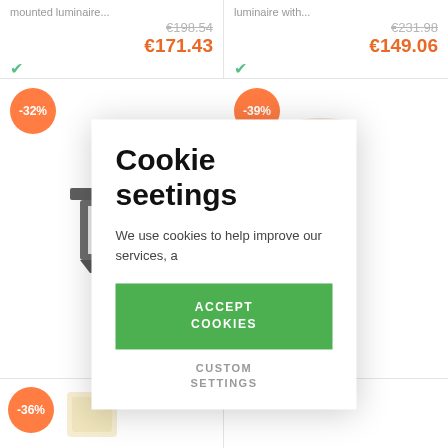mounted luminaire...
€198.54
€171.43
luminaire with...
€231.98
€149.06
-32%
[Figure (photo): SLV outdoor LED wall luminaire, dark square angular design]
-39%
[Figure (photo): SLV QT14 wall luminaire, cylindrical white glass shade with chrome base]
SLV ABRIDOR 3000/4000K O
Modern LED out wall luminaire w
.QT14 Wall white
an...
€128.40
€77.92
[Figure (screenshot): Cookie settings modal dialog overlay on e-commerce website]
Cookie seetings
We use cookies to help improve our services, a
ACCEPT COOKIES
CUSTOM SETTINGS
-36%